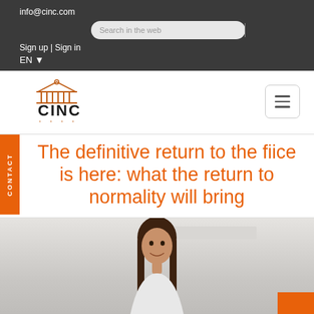info@cinc.com
Search in the web
Sign up | Sign in
EN
[Figure (logo): CINC bank logo with classical building/columns icon above the text CINC]
The definitive return to the fice is here: what the return to normality will bring
[Figure (photo): Photo of a young woman with long dark hair smiling, in an office environment with white walls and furniture in the background]